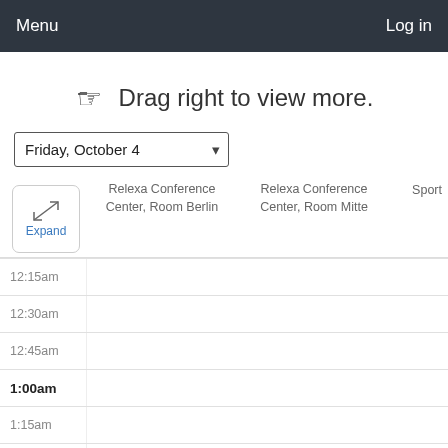Menu   Log in
Drag right to view more.
Friday, October 4
[Figure (screenshot): Calendar schedule view with columns: Expand button, Relexa Conference Center Room Berlin, Relexa Conference Center Room Mitte, Sport. Time rows shown: 12:15am, 12:30am, 12:45am, 1:00am (bold), 1:15am, 1:30am.]